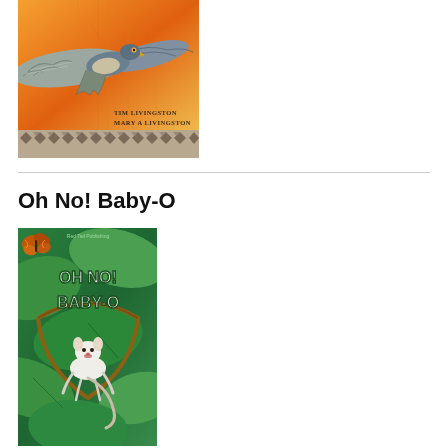[Figure (illustration): Book cover illustration showing a hawk or falcon in flight against an orange background with geometric border pattern at the bottom. Author names 'Tim Livingston' and 'Mary A Livingston' shown in the bottom right of the image.]
Oh No! Baby-O
[Figure (illustration): Book cover for 'Oh No! Baby-O' showing an illustrated opossum baby on a curved branch or swing amid green leaves. The title text 'Oh No! Baby-O' appears in white lettering. Published by Red Tail Publishing.]